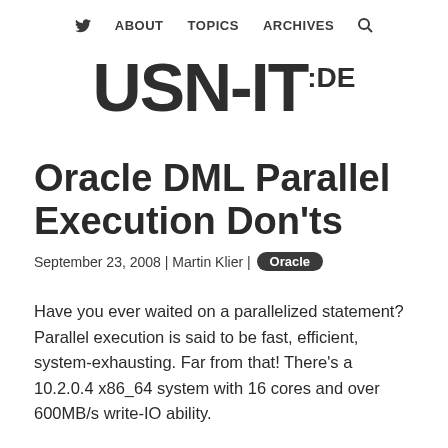ABOUT  TOPICS  ARCHIVES
USN-IT.DE
Oracle DML Parallel Execution Don'ts
September 23, 2008 | Martin Klier | Oracle
Have you ever waited on a parallelized statement? Parallel execution is said to be fast, efficient, system-exhausting. Far from that! There's a 10.2.0.4 x86_64 system with 16 cores and over 600MB/s write-IO ability.